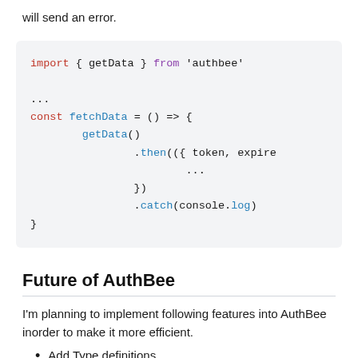will send an error.
[Figure (screenshot): Code block showing JavaScript import and fetchData function using authbee library with getData(), .then(), and .catch() chained calls.]
Future of AuthBee
I'm planning to implement following features into AuthBee inorder to make it more efficient.
Add Type definitions
Make auth bee usable for Server Side Rendered